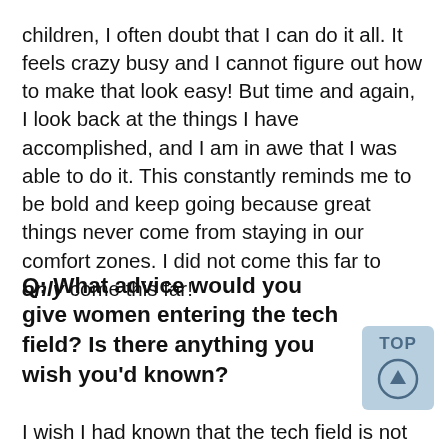children, I often doubt that I can do it all. It feels crazy busy and I cannot figure out how to make that look easy! But time and again, I look back at the things I have accomplished, and I am in awe that I was able to do it. This constantly reminds me to be bold and keep going because great things never come from staying in our comfort zones. I did not come this far to only come this far!
Q: What advice would you give women entering the tech field? Is there anything you wish you'd known?
I wish I had known that the tech field is not just about computers and it is bigger than the...